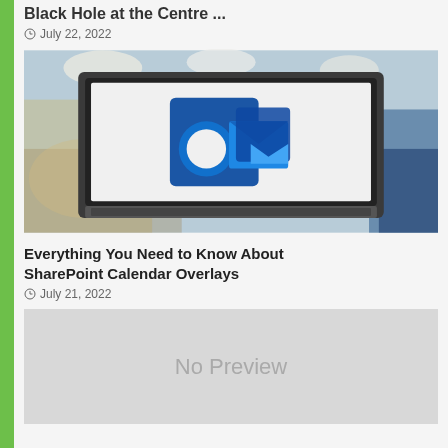Black Hole at the Centre ...
July 22, 2022
[Figure (photo): Laptop computer displaying Microsoft Outlook logo on screen, placed on a desk in a busy cafe or office environment with blurred background]
Everything You Need to Know About SharePoint Calendar Overlays
July 21, 2022
[Figure (other): No Preview placeholder image with gray background]